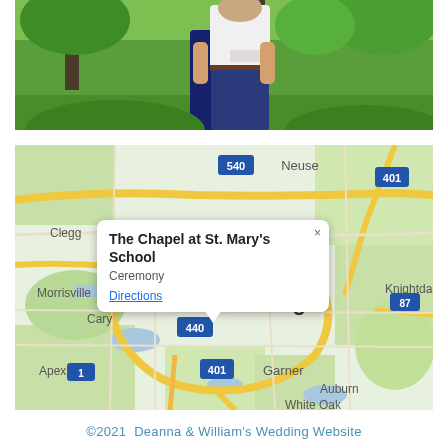[Figure (photo): Couple embracing outdoors, woman in navy skirt, man in white shirt and jeans, green trees in background]
[Figure (map): Google Maps view centered on Raleigh, NC area showing The Chapel at St. Mary's School with a popup info card. Shows surrounding areas: Morrisville, Cary, Apex, Garner, Auburn, White Oak, Knightdale, Neuse. Highway markers: 540, 401, 440, 87, 1.]
©2021  Deanna & William's Wedding Website